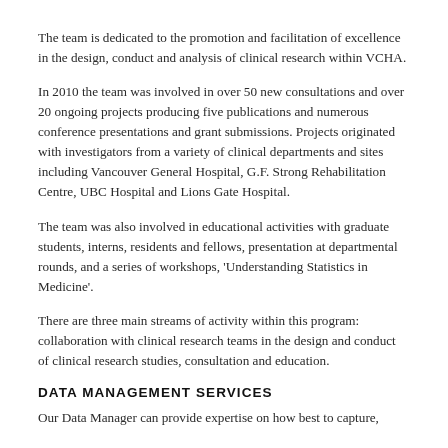The team is dedicated to the promotion and facilitation of excellence in the design, conduct and analysis of clinical research within VCHA.
In 2010 the team was involved in over 50 new consultations and over 20 ongoing projects producing five publications and numerous conference presentations and grant submissions. Projects originated with investigators from a variety of clinical departments and sites including Vancouver General Hospital, G.F. Strong Rehabilitation Centre, UBC Hospital and Lions Gate Hospital.
The team was also involved in educational activities with graduate students, interns, residents and fellows, presentation at departmental rounds, and a series of workshops, 'Understanding Statistics in Medicine'.
There are three main streams of activity within this program: collaboration with clinical research teams in the design and conduct of clinical research studies, consultation and education.
DATA MANAGEMENT SERVICES
Our Data Manager can provide expertise on how best to capture,